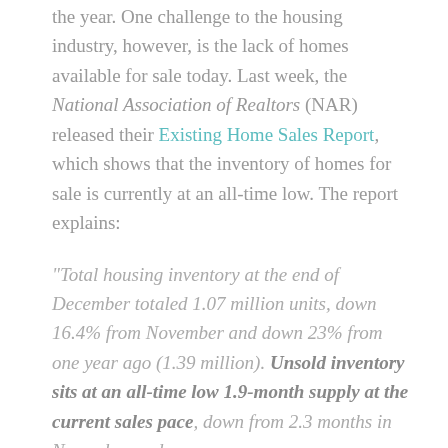the year. One challenge to the housing industry, however, is the lack of homes available for sale today. Last week, the National Association of Realtors (NAR) released their Existing Home Sales Report, which shows that the inventory of homes for sale is currently at an all-time low. The report explains:
“Total housing inventory at the end of December totaled 1.07 million units, down 16.4% from November and down 23% from one year ago (1.39 million). Unsold inventory sits at an all-time low 1.9-month supply at the current sales pace, down from 2.3 months in November and